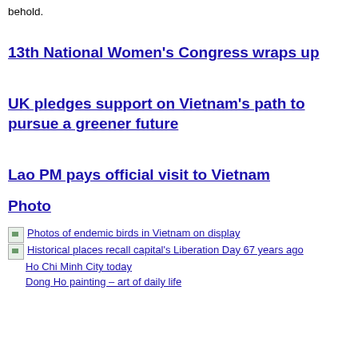behold.
13th National Women's Congress wraps up
UK pledges support on Vietnam's path to pursue a greener future
Lao PM pays official visit to Vietnam
Photo
Photos of endemic birds in Vietnam on display
Historical places recall capital's Liberation Day 67 years ago
Ho Chi Minh City today
Dong Ho painting – art of daily life